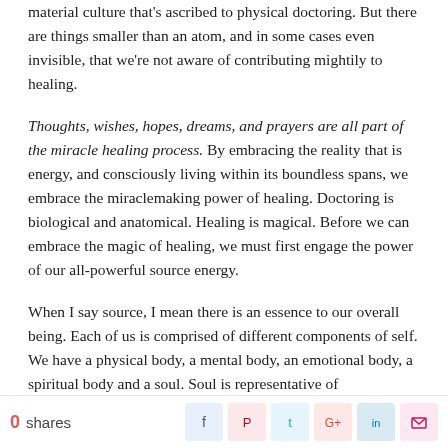material culture that's ascribed to physical doctoring. But there are things smaller than an atom, and in some cases even invisible, that we're not aware of contributing mightily to healing.
Thoughts, wishes, hopes, dreams, and prayers are all part of the miracle healing process. By embracing the reality that is energy, and consciously living within its boundless spans, we embrace the miraclemaking power of healing. Doctoring is biological and anatomical. Healing is magical. Before we can embrace the magic of healing, we must first engage the power of our all-powerful source energy.
When I say source, I mean there is an essence to our overall being. Each of us is comprised of different components of self. We have a physical body, a mental body, an emotional body, a spiritual body and a soul. Soul is representative of
0 shares